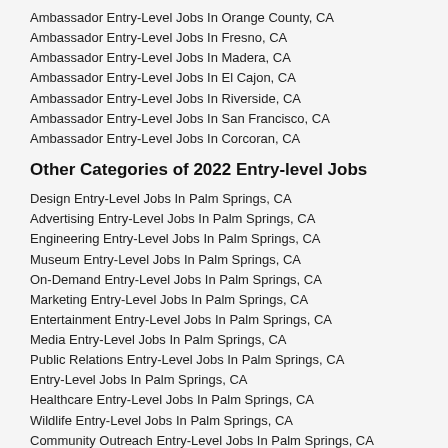Ambassador Entry-Level Jobs In Orange County, CA
Ambassador Entry-Level Jobs In Fresno, CA
Ambassador Entry-Level Jobs In Madera, CA
Ambassador Entry-Level Jobs In El Cajon, CA
Ambassador Entry-Level Jobs In Riverside, CA
Ambassador Entry-Level Jobs In San Francisco, CA
Ambassador Entry-Level Jobs In Corcoran, CA
Other Categories of 2022 Entry-level Jobs
Design Entry-Level Jobs In Palm Springs, CA
Advertising Entry-Level Jobs In Palm Springs, CA
Engineering Entry-Level Jobs In Palm Springs, CA
Museum Entry-Level Jobs In Palm Springs, CA
On-Demand Entry-Level Jobs In Palm Springs, CA
Marketing Entry-Level Jobs In Palm Springs, CA
Entertainment Entry-Level Jobs In Palm Springs, CA
Media Entry-Level Jobs In Palm Springs, CA
Public Relations Entry-Level Jobs In Palm Springs, CA
Entry-Level Jobs In Palm Springs, CA
Healthcare Entry-Level Jobs In Palm Springs, CA
Wildlife Entry-Level Jobs In Palm Springs, CA
Community Outreach Entry-Level Jobs In Palm Springs, CA